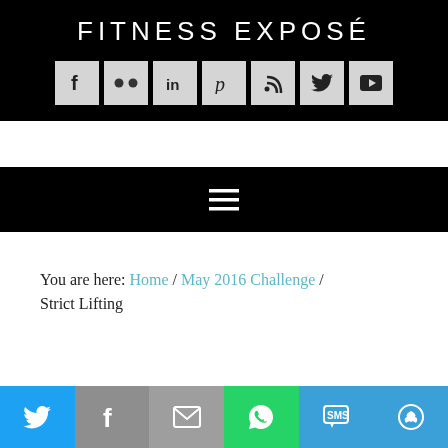FITNESS EXPOSÉ
[Figure (infographic): Social media icon buttons row: Facebook, Flickr, LinkedIn, Pinterest, RSS, Twitter, YouTube — light grey square icons on black background]
[Figure (infographic): Black navigation bar with white hamburger menu icon (three horizontal lines)]
You are here: Home / May 2016 Challenge / Strict Lifting
[Figure (infographic): Bottom social share bar with Twitter (blue), Facebook (grey), Email (grey), WhatsApp (green), SMS (blue), More (blue) buttons with white icons]